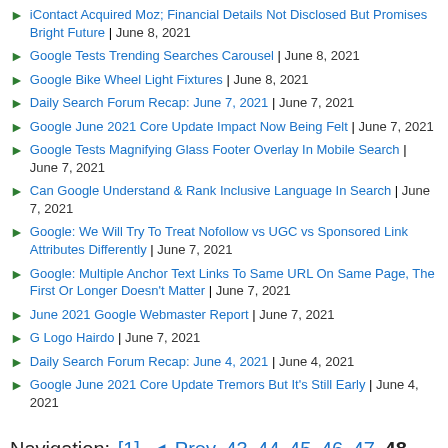iContact Acquired Moz; Financial Details Not Disclosed But Promises Bright Future | June 8, 2021
Google Tests Trending Searches Carousel | June 8, 2021
Google Bike Wheel Light Fixtures | June 8, 2021
Daily Search Forum Recap: June 7, 2021 | June 7, 2021
Google June 2021 Core Update Impact Now Being Felt | June 7, 2021
Google Tests Magnifying Glass Footer Overlay In Mobile Search | June 7, 2021
Can Google Understand & Rank Inclusive Language In Search | June 7, 2021
Google: We Will Try To Treat Nofollow vs UGC vs Sponsored Link Attributes Differently | June 7, 2021
Google: Multiple Anchor Text Links To Same URL On Same Page, The First Or Longer Doesn't Matter | June 7, 2021
June 2021 Google Webmaster Report | June 7, 2021
G Logo Hairdo | June 7, 2021
Daily Search Forum Recap: June 4, 2021 | June 4, 2021
Google June 2021 Core Update Tremors But It's Still Early | June 4, 2021
Navigation: [1] ◄ Prev 43 44 45 46 47 48 49 50 51 52 53 Next ► [678]
THE PULSE OF THE SEARCH COMMUNITY
SUBSCRIBE